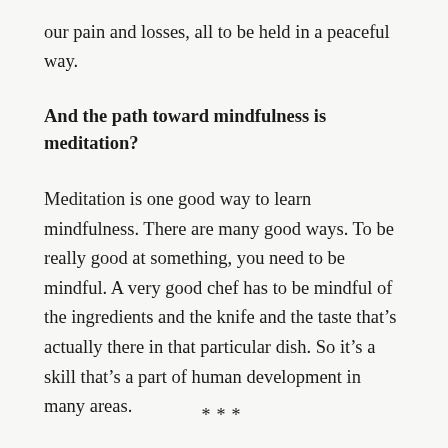our pain and losses, all to be held in a peaceful way.
And the path toward mindfulness is meditation?
Meditation is one good way to learn mindfulness. There are many good ways. To be really good at something, you need to be mindful. A very good chef has to be mindful of the ingredients and the knife and the taste that’s actually there in that particular dish. So it’s a skill that’s a part of human development in many areas.
***